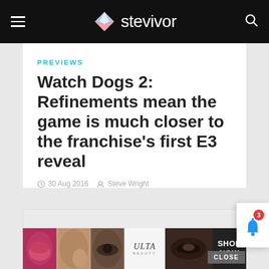stevivor
PREVIEWS
Watch Dogs 2: Refinements mean the game is much closer to the franchise's first E3 reveal
30 Aug 2016  Steve Wright
[Figure (screenshot): Advertisement placeholder area (gray box) with CLOSE button overlay]
[Figure (photo): Ulta Beauty advertisement banner with makeup imagery and SHOP NOW call to action]